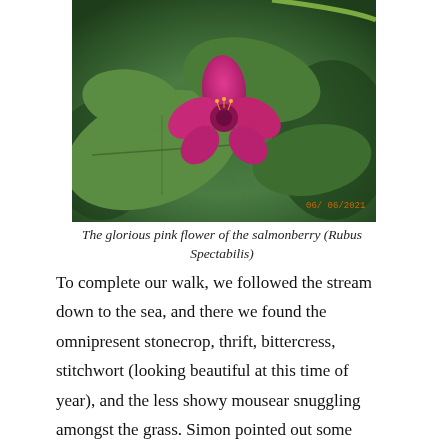[Figure (photo): Close-up photograph of a bright pink salmonberry flower (Rubus Spectabilis) with green leaves in the background, dated 06/06/2021]
The glorious pink flower of the salmonberry (Rubus Spectabilis)
To complete our walk, we followed the stream down to the sea, and there we found the omnipresent stonecrop, thrift, bittercress, stitchwort (looking beautiful at this time of year), and the less showy mousear snuggling amongst the grass. Simon pointed out some black lumps planted on some tree trunks. These are called King Alfred’s Cakes (look up the story if you don’t know it).